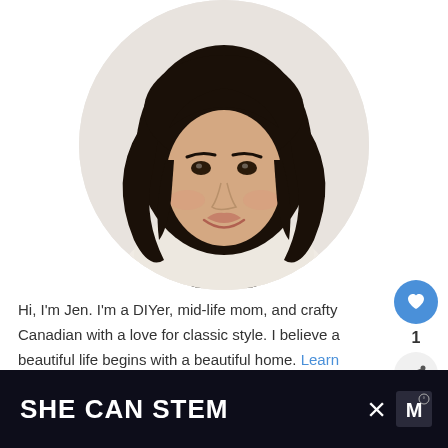[Figure (photo): Circular profile photo of a woman with long dark wavy hair, wearing a cream/beige top with black trim details, smiling at the camera against a light background.]
Hi, I'm Jen. I'm a DIYer, mid-life mom, and crafty Canadian with a love for classic style. I believe a beautiful life begins with a beautiful home. Learn more...
[Figure (infographic): Right-side UI overlay with a blue heart button, count of 1, share button, and a What's Next card showing Organizing a Built In Offic...]
SHE CAN STEM